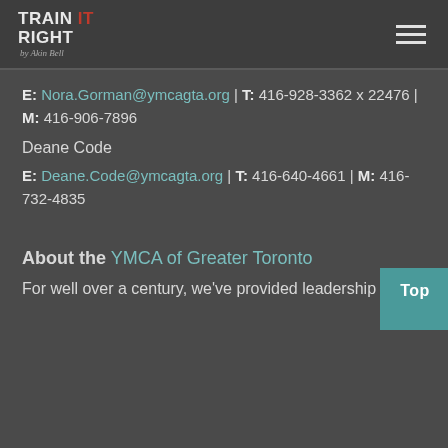Train It Right by Akin Bello
E: Nora.Gorman@ymcagta.org | T: 416-928-3362 x 22476 | M: 416-906-7896
Deane Code
E: Deane.Code@ymcagta.org | T: 416-640-4661 | M: 416-732-4835
About the YMCA of Greater Toronto
For well over a century, we've provided leadership and